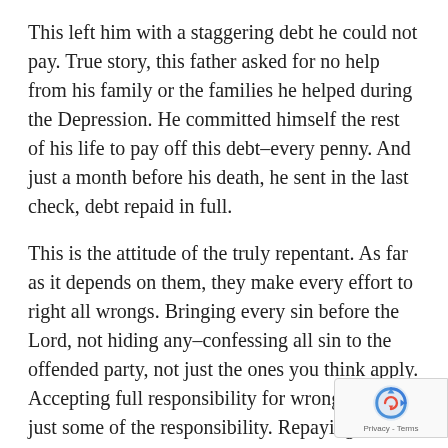This left him with a staggering debt he could not pay. True story, this father asked for no help from his family or the families he helped during the Depression. He committed himself the rest of his life to pay off this debt–every penny. And just a month before his death, he sent in the last check, debt repaid in full.
This is the attitude of the truly repentant. As far as it depends on them, they make every effort to right all wrongs. Bringing every sin before the Lord, not hiding any–confessing all sin to the offended party, not just the ones you think apply. Accepting full responsibility for wrongs—not just some of the responsibility. Repaying all debt, not just the ones that are convenient.
When I think of righting all wrongs, I think of Zacchaeus, the tax collector. Zacchaeus had spe life swindling money from people, like every other